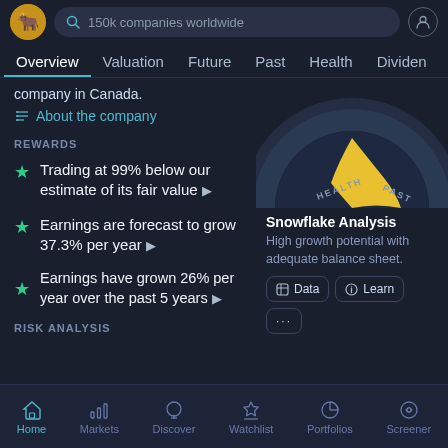Simply Wall St app — search bar: 150k companies worldwide
Navigation: Overview | Valuation | Future | Past | Health | Dividen...
company in Canada.
About the company
[Figure (other): Snowflake gauge/dial showing HEALTH and PAST segments with a yellow indicator needle pointing toward PAST area. Dark circular gauge with teal/dark ring.]
REWARDS
Trading at 99% below our estimate of its fair value ▶
Snowflake Analysis
High growth potential with adequate balance sheet.
Earnings are forecast to grow 37.3% per year ▶
Earnings have grown 26% per year over the past 5 years ▶
RISK ANALYSIS
Home | Markets | Discover | Watchlist | Portfolios | Screener